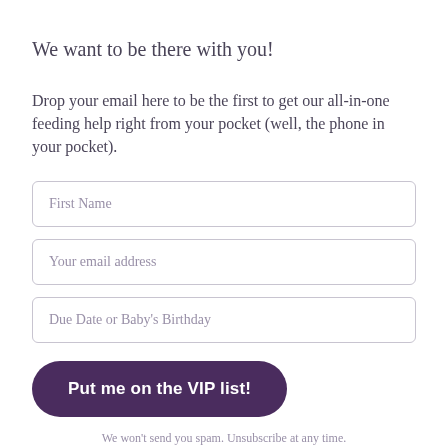We want to be there with you!
Drop your email here to be the first to get our all-in-one feeding help right from your pocket (well, the phone in your pocket).
First Name
Your email address
Due Date or Baby's Birthday
Put me on the VIP list!
We won't send you spam. Unsubscribe at any time.